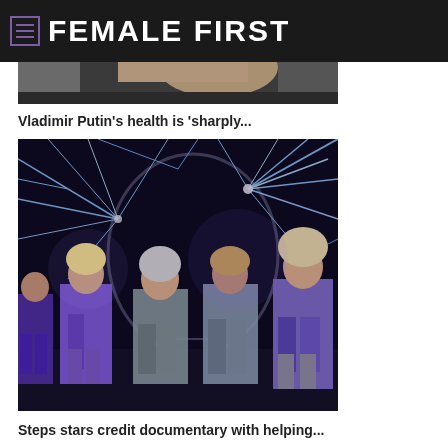FEMALE FIRST
[Figure (photo): Partial top image of a person in dark setting, cropped at top]
Vladimir Putin's health is 'sharply...
[Figure (photo): Concert performance photo showing Steps performers on stage in sparkling/metallic outfits with laser light show and projected face silhouette in background]
Steps stars credit documentary with helping...